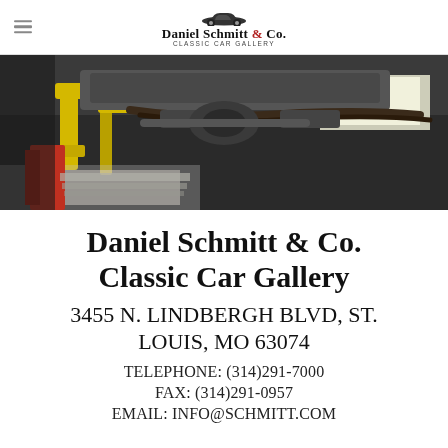Daniel Schmitt & Co. CLASSIC CAR GALLERY
[Figure (photo): Undercarriage view of a classic car on a lift in a garage/workshop. Yellow lift arms, brake lines, exhaust pipes and suspension components visible from below. Bright fluorescent lighting in background.]
Daniel Schmitt & Co. Classic Car Gallery
3455 N. LINDBERGH BLVD, ST. LOUIS, MO 63074
TELEPHONE: (314)291-7000
FAX: (314)291-0957
EMAIL: INFO@SCHMITT.COM